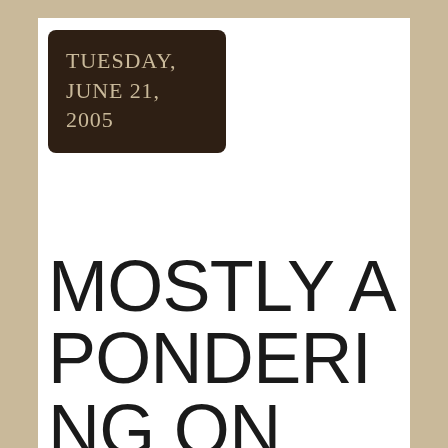TUESDAY, JUNE 21, 2005
MOSTLY A PONDERING ON MOTION